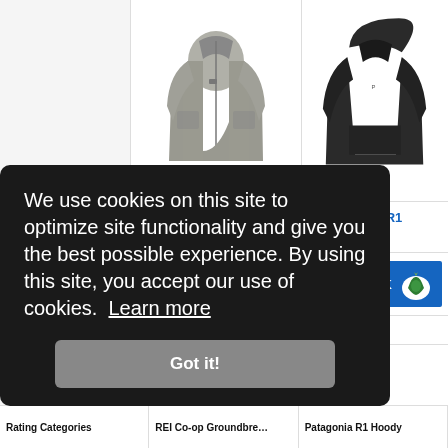[Figure (photo): Gray REI Co-op Groundbreaker 2.0 fleece jacket product photo]
[Figure (photo): Black Patagonia R1 Hoody fleece jacket product photo]
REI Co-op Groundbreaker 2.0
Patagonia R1 Hoody
|  | REI Co-op Groundbreaker 2.0 | Patagonia R1 Hoody |
| --- | --- | --- |
| Awards |  | TOP PICK |
| Price | $59** | $169** |
We use cookies on this site to optimize site functionality and give you the best possible experience. By using this site, you accept our use of cookies. Learn more
Got it!
| Rating Categories | REI Co-op Groundbre… | Patagonia R1 Hoody |
| --- | --- | --- |